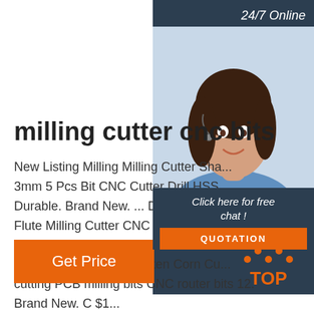24/7 Online
milling cutter cnc bits
New Listing Milling Milling Cutter Sha... 3mm 5 Pcs Bit CNC Cutter Drill HSS Durable. Brand New. ... Double Strai... Flute Milling Cutter CNC Engraving B... Wood Router Bits 32mm. Brand New... 3.175mm Carbide Tungsten Corn Cu... cutting PCB milling bits CNC router bits 12. Brand New. C $1...
Click here for free chat !
QUOTATION
Get Price
[Figure (logo): TOP logo with orange dot pattern above orange letters]